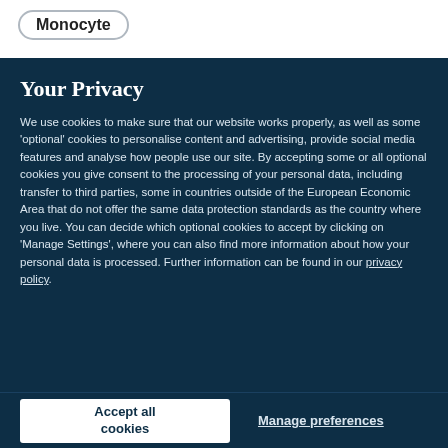Monocyte
Your Privacy
We use cookies to make sure that our website works properly, as well as some 'optional' cookies to personalise content and advertising, provide social media features and analyse how people use our site. By accepting some or all optional cookies you give consent to the processing of your personal data, including transfer to third parties, some in countries outside of the European Economic Area that do not offer the same data protection standards as the country where you live. You can decide which optional cookies to accept by clicking on 'Manage Settings', where you can also find more information about how your personal data is processed. Further information can be found in our privacy policy.
Accept all cookies
Manage preferences